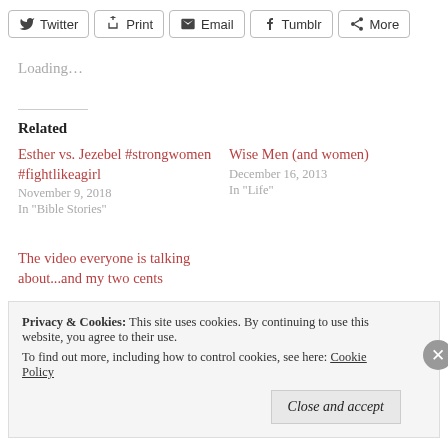Twitter | Print | Email | Tumblr | More
Loading...
Related
Esther vs. Jezebel #strongwomen #fightlikeagirl
November 9, 2018
In "Bible Stories"
Wise Men (and women)
December 16, 2013
In "Life"
The video everyone is talking about...and my two cents
Privacy & Cookies: This site uses cookies. By continuing to use this website, you agree to their use.
To find out more, including how to control cookies, see here: Cookie Policy
Close and accept